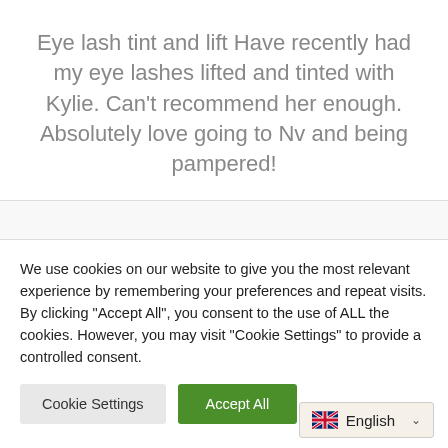Eye lash tint and lift Have recently had my eye lashes lifted and tinted with Kylie. Can't recommend her enough. Absolutely love going to Nv and being pampered!
We use cookies on our website to give you the most relevant experience by remembering your preferences and repeat visits. By clicking "Accept All", you consent to the use of ALL the cookies. However, you may visit "Cookie Settings" to provide a controlled consent.